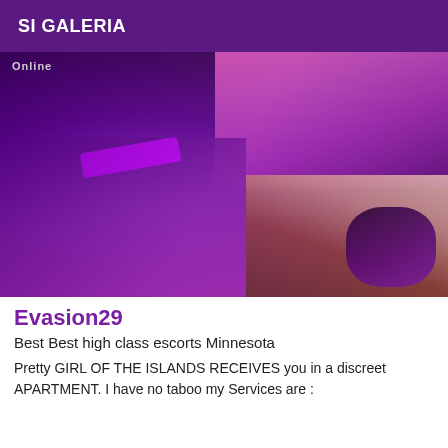SI GALERIA
[Figure (photo): Photo with purple/violet lighting showing fishnet stockings and legs in a dimly lit room. The image has strong purple and magenta tones. A label reading 'Online' appears in the top-left corner of the photo.]
Evasion29
Best Best high class escorts Minnesota
Pretty GIRL OF THE ISLANDS RECEIVES you in a discreet APARTMENT. I have no taboo my Services are :